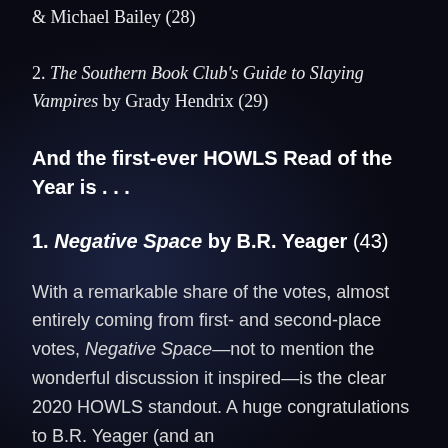& Michael Bailey (28)
2. The Southern Book Club's Guide to Slaying Vampires by Grady Hendrix (29)
And the first-ever HOWLS Read of the Year is . . .
1. Negative Space by B.R. Yeager (43)
With a remarkable share of the votes, almost entirely coming from first- and second-place votes, Negative Space—not to mention the wonderful discussion it inspired—is the clear 2020 HOWLS standout. A huge congratulations to B.R. Yeager (and an